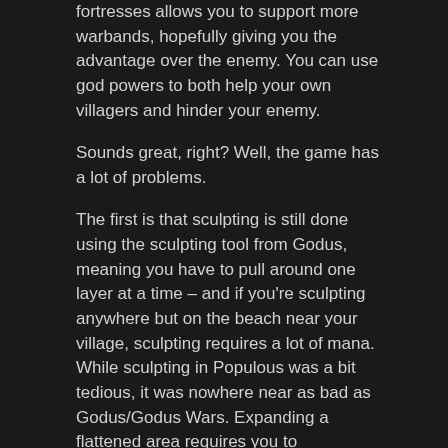fortresses allows you to support more warbands, hopefully giving you the advantage over the enemy. You can use god powers to both help your own villagers and hinder your enemy.
Sounds great, right? Well, the game has a lot of problems.
The first is that sculpting is still done using the sculpting tool from Godus, meaning you have to pull around one layer at a time – and if you're sculpting anywhere but on the beach near your village, sculpting requires a lot of mana. While sculpting in Populous was a bit tedious, it was nowhere near as bad as Godus/Godus Wars. Expanding a flattened area requires you to individually sculpt the layers below first. Flattening a mountain requires that you delete it, layer by layer. It's tedious, it's time-consuming, and half the time you end up sculpting in a way you didn't intend, wasting time and mana.